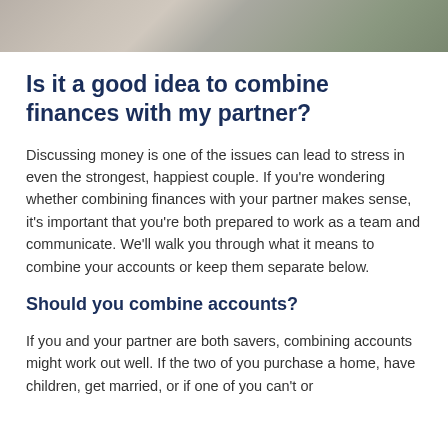[Figure (photo): A cropped photo of a couple sitting together, partially visible at the top of the page.]
Is it a good idea to combine finances with my partner?
Discussing money is one of the issues can lead to stress in even the strongest, happiest couple. If you're wondering whether combining finances with your partner makes sense, it's important that you're both prepared to work as a team and communicate. We'll walk you through what it means to combine your accounts or keep them separate below.
Should you combine accounts?
If you and your partner are both savers, combining accounts might work out well. If the two of you purchase a home, have children, get married, or if one of you can't or